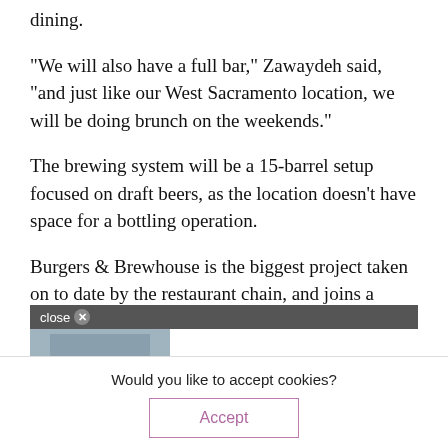dining.
"We will also have a full bar," Zawaydeh said, "and just like our West Sacramento location, we will be doing brunch on the weekends."
The brewing system will be a 15-barrel setup focused on draft beers, as the location doesn't have space for a bottling operation.
Burgers & Brewhouse is the biggest project taken on to date by the restaurant chain, and joins a Sacramento beer scene that continues to grow and
1616
[Figure (screenshot): Advertisement overlay with close button showing Kimpton Sawyer Hotel ad: 'Enjoy Downtown Luxury, Kimpton Sawyer Hotel →' with hotel room image]
Would you like to accept cookies?
Accept